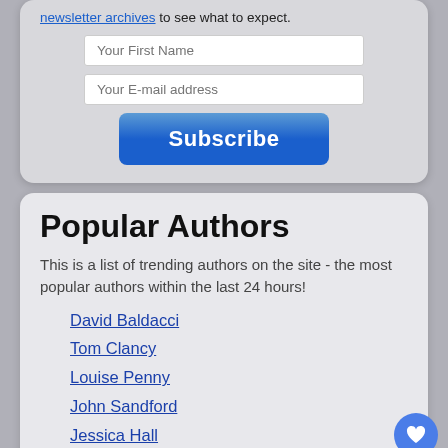newsletter archives to see what to expect.
[Figure (screenshot): Text input field with placeholder 'Your First Name']
[Figure (screenshot): Text input field with placeholder 'Your E-mail address']
[Figure (screenshot): Blue Subscribe button]
Popular Authors
This is a list of trending authors on the site - the most popular authors within the last 24 hours!
David Baldacci
Tom Clancy
Louise Penny
John Sandford
Jessica Hall
Vince Flynn
C.J. Box